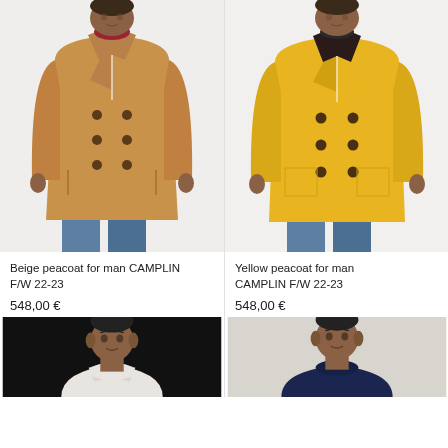[Figure (photo): Man wearing beige/camel double-breasted peacoat over red turtleneck with jeans, white background]
[Figure (photo): Man wearing yellow double-breasted peacoat over dark sweater with jeans, white background]
Beige peacoat for man CAMPLIN F/W 22-23
548,00 €
Yellow peacoat for man CAMPLIN F/W 22-23
548,00 €
[Figure (photo): Man wearing white turtleneck sweater, black background, cropped at chest]
[Figure (photo): Man wearing navy crew-neck sweater, light background, cropped at chest]